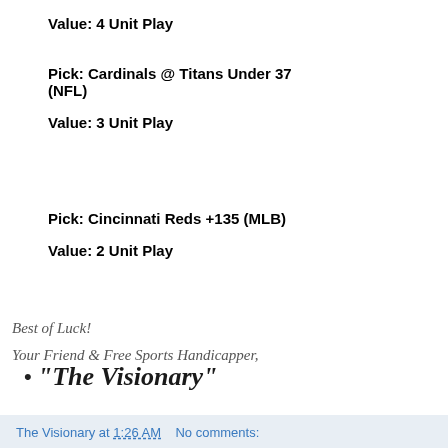Pick: St. Louis Cardinals -110 (MLB)
Value: 4 Unit Play
Pick: Cardinals @ Titans Under 37 (NFL)
Value: 3 Unit Play
Pick: Cincinnati Reds +135 (MLB)
Value: 2 Unit Play
Best of Luck!
Your Friend & Free Sports Handicapper,
"The Visionary"
The Visionary at 1:26 AM   No comments: